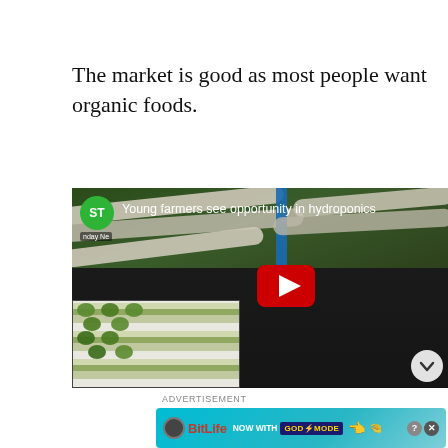The market is good as most people want organic foods.
[Figure (screenshot): YouTube video thumbnail titled 'Young farmers see opportunity in hydroponic' showing a person working with hydroponic pipes, with a YouTube play button overlay, a green channel icon labeled 'ST' / 'nday Ne', and a smaller inset thumbnail of hydroponic plant trays.]
ADVERTISEMENT
[Figure (screenshot): BitLife advertisement banner with cyan gradient background reading 'BitLife NOW WITH GOD MODE' with question mark and X close buttons, and pointing hand graphics.]